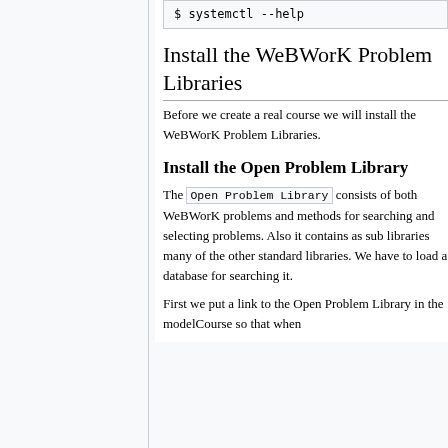$ systemctl --help
Install the WeBWorK Problem Libraries
Before we create a real course we will install the WeBWorK Problem Libraries.
Install the Open Problem Library
The Open Problem Library consists of both WeBWorK problems and methods for searching and selecting problems. Also it contains as sub libraries many of the other standard libraries. We have to load a database for searching it.
First we put a link to the Open Problem Library in the modelCourse so that when